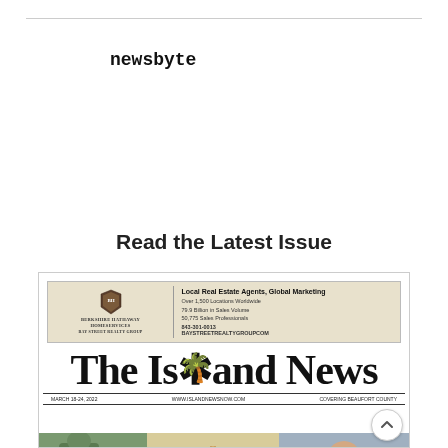newsbyte
Read the Latest Issue
[Figure (screenshot): Screenshot of The Island News newspaper front page, featuring a Berkshire Hathaway HomeServices Bay Street Realty Group advertisement banner at top, the newspaper masthead 'The Island News' in large serif bold font, a dateline row, and photos of community members below.]